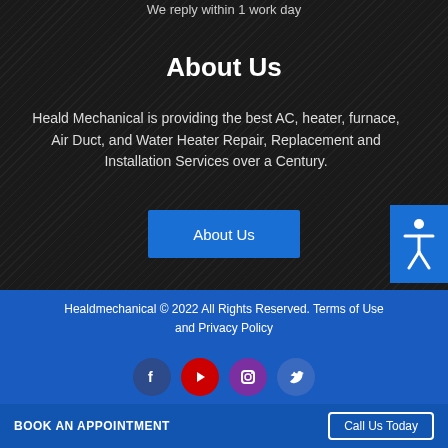We reply within 1 work day
About Us
Heald Mechanical is providing the best AC, heater, furnace, Air Duct, and Water Heater Repair, Replacement and Installation Services over a Century.
About Us
Healdmechanical © 2022 All Rights Reserved. Terms of Use and Privacy Policy
[Figure (infographic): Social media icons row: Facebook (dark blue circle), YouTube (red circle), Instagram (purple circle), Twitter (blue circle)]
BOOK AN APPOINTMENT   Call Us Today